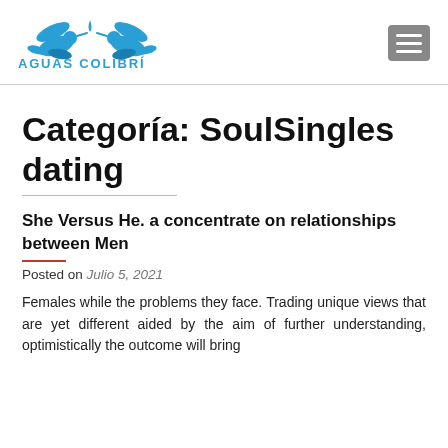[Figure (logo): Aguas Colibrí logo with two hummingbirds in teal/blue and a water drop, with text AGUAS COLIBRÍ below]
Categoría: SoulSingles dating
She Versus He. a concentrate on relationships between Men
Posted on Julio 5, 2021
Females while the problems they face. Trading unique views that are yet different aided by the aim of further understanding, optimistically the outcome will bring